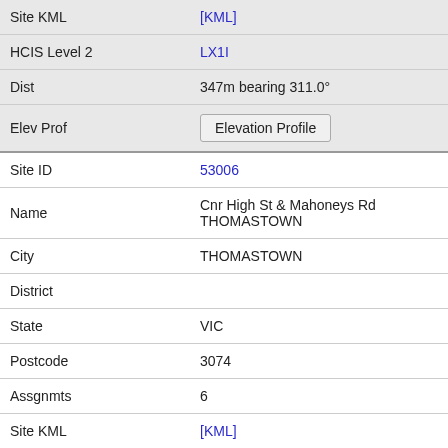| Field | Value |
| --- | --- |
| Site KML | [KML] |
| HCIS Level 2 | LX1I |
| Dist | 347m bearing 311.0° |
| Elev Prof | Elevation Profile |
| Site ID | 53006 |
| Name | Cnr High St & Mahoneys Rd THOMASTOWN |
| City | THOMASTOWN |
| District |  |
| State | VIC |
| Postcode | 3074 |
| Assgnmts | 6 |
| Site KML | [KML] |
| HCIS Level 2 | LX1I |
| Dist | 398m bearing 284.6° |
| Elev Prof | Elevation Profile |
| Site ID | 130343 |